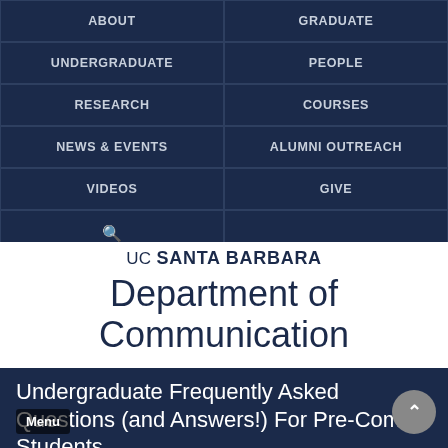[Figure (screenshot): Navigation menu grid with dark navy background, two-column layout showing: ABOUT, GRADUATE, UNDERGRADUATE, PEOPLE, RESEARCH, COURSES, NEWS & EVENTS, ALUMNI OUTREACH, VIDEOS, GIVE, and a search icon row]
UC SANTA BARBARA Department of Communication
Undergraduate Frequently Asked Questions (and Answers!) For Pre-Comm Students